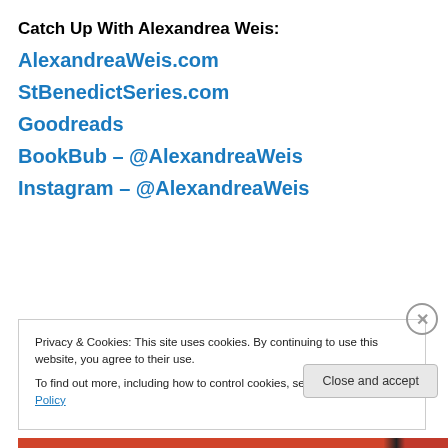Catch Up With Alexandrea Weis:
AlexandreaWeis.com
StBenedictSeries.com
Goodreads
BookBub – @AlexandreaWeis
Instagram – @AlexandreaWeis
Privacy & Cookies: This site uses cookies. By continuing to use this website, you agree to their use.
To find out more, including how to control cookies, see here: Cookie Policy
Close and accept